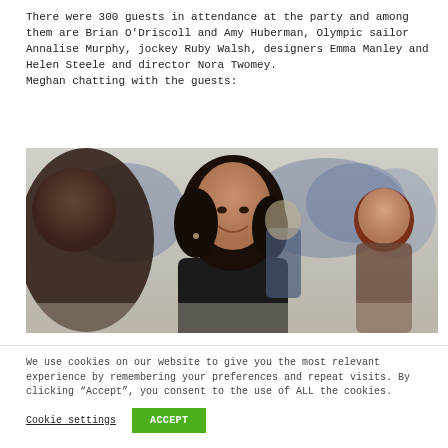There were 300 guests in attendance at the party and among them are Brian O'Driscoll and Amy Huberman, Olympic sailor Annalise Murphy, jockey Ruby Walsh, designers Emma Manley and Helen Steele and director Nora Twomey.
Meghan chatting with the guests:
[Figure (photo): Meghan Markle smiling and chatting with guests at an event, surrounded by a crowd of people in a dimly lit venue.]
We use cookies on our website to give you the most relevant experience by remembering your preferences and repeat visits. By clicking “Accept”, you consent to the use of ALL the cookies.